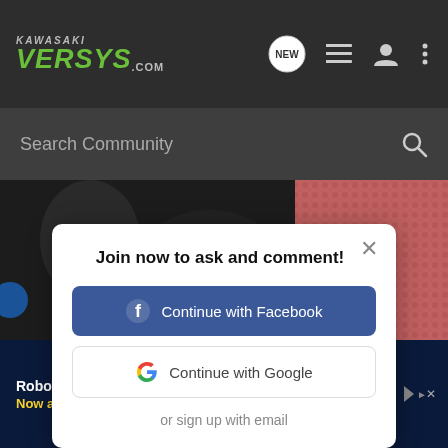[Figure (screenshot): KawasakiVersys.com website header with logo, NEW chat icon, list icon, user icon, and menu dots on dark background]
[Figure (screenshot): Search Community search bar on dark background]
[Figure (photo): Background photo of motorcycle parts — dark metallic surfaces and a pink textile]
Join now to ask and comment!
[Figure (screenshot): Continue with Facebook button (blue)]
[Figure (screenshot): Continue with Google button (white with Google logo)]
or sign up with email
[Figure (screenshot): Advertisement banner: Robotic heart surgery. Now available near you. Learn more. MedStar Health.]